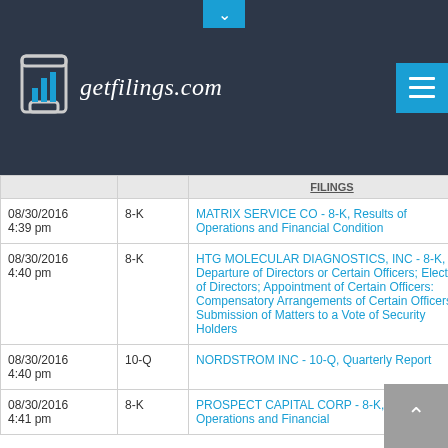[Figure (logo): getfilings.com logo with bar chart icon on dark background header]
|  |  | FILINGS |
| --- | --- | --- |
| 08/30/2016 4:39 pm | 8-K | MATRIX SERVICE CO - 8-K, Results of Operations and Financial Condition |
| 08/30/2016 4:40 pm | 8-K | HTG MOLECULAR DIAGNOSTICS, INC - 8-K, Departure of Directors or Certain Officers; Election of Directors; Appointment of Certain Officers: Compensatory Arrangements of Certain Officers Submission of Matters to a Vote of Security Holders |
| 08/30/2016 4:40 pm | 10-Q | NORDSTROM INC - 10-Q, Quarterly Report |
| 08/30/2016 4:41 pm | 8-K | PROSPECT CAPITAL CORP - 8-K, Results of Operations and Financial |